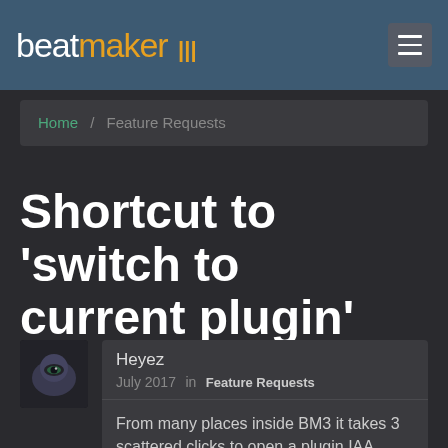beatmaker III
Home / Feature Requests
Shortcut to 'switch to current plugin'
Heyez
July 2017 in Feature Requests

From many places inside BM3 it takes 3 scattered clicks to open a plugin IAA synth UI like Animoog etc.